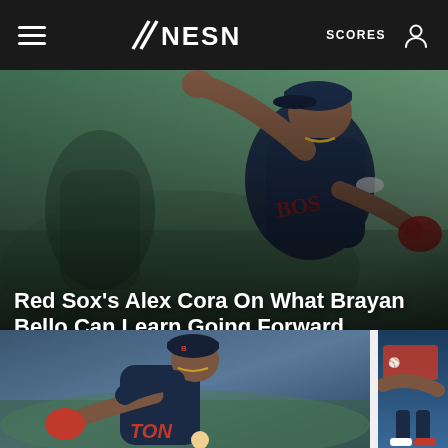NESN — SCORES
[Figure (photo): Baseball pitcher in Boston Red Sox dark navy uniform mid-wind-up throwing motion, action photo hero image]
Red Sox's Alex Cora On What Brayan Bello Can Learn Going Forward
Boston Red Sox  |  1 hours ago
[Figure (photo): Boston Red Sox pitcher in navy uniform with red glove mid-pitch, action photo, large left thumbnail]
[Figure (photo): Partial photo of baseball player, right thumbnail, cropped view]